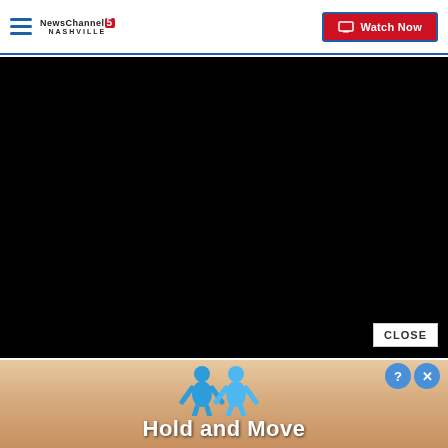NewsChannel 5 Nashville — Watch Now
[Figure (screenshot): Black video player area]
CLOSE
[Figure (screenshot): Advertisement banner showing 'Hold and Move' with blue figure icons on a wood-tone background]